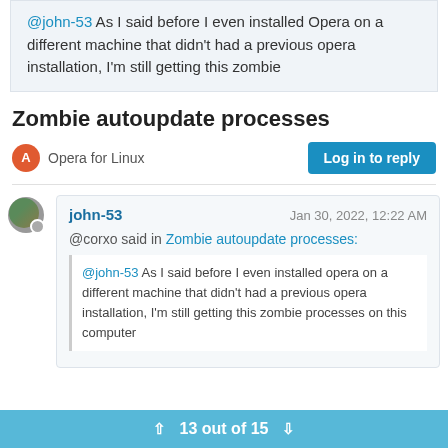@john-53 As I said before I even installed Opera on a different machine that didn't had a previous opera installation, I'm still getting this zombie
Zombie autoupdate processes
Opera for Linux
Log in to reply
john-53   Jan 30, 2022, 12:22 AM
@corxo said in Zombie autoupdate processes:
@john-53 As I said before I even installed opera on a different machine that didn't had a previous opera installation, I'm still getting this zombie processes on this computer
13 out of 15